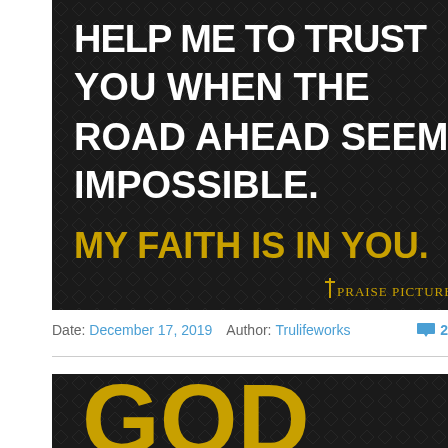[Figure (illustration): Dark textured background image with white bold text reading 'HELP ME TO TRUST YOU WHEN THE ROAD AHEAD SEEMS IMPOSSIBLE.' and golden text 'MY FAITH IS IN YOU.' with Praise Pictures logo at bottom right]
Date: December 17, 2019   Author: Trulifeworks   2
[Figure (illustration): Dark textured background image with large golden text 'GOD' partially visible at bottom of page]